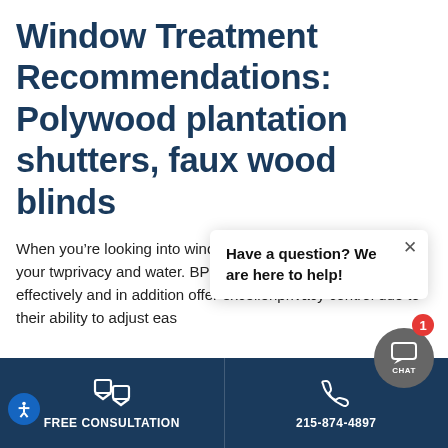Window Treatment Recommendations: Polywood plantation shutters, faux wood blinds
When you’re looking into window treatments for bathrooms, your two main concerns are privacy and water. Both Polywood plantation shutters handle humidity effectively and in addition offer excellent privacy control due to their ability to adjust easily
[Figure (screenshot): Chat popup overlay with text 'Have a question? We are here to help!' and a close (x) button]
FREE CONSULTATION   215-874-4897